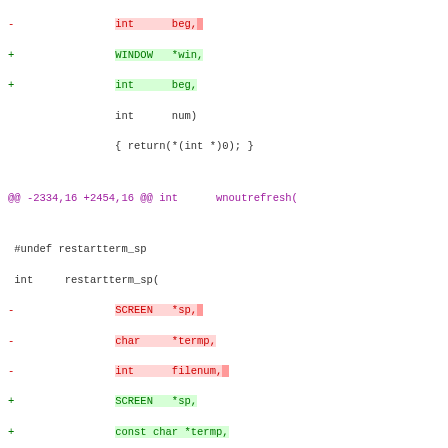diff code block showing git diff output with removed/added lines for wnoutrefresh and restartterm_sp and restartterm functions
@@ -2334,16 +2454,16 @@ int     wnoutrefresh(
@@ -2351,38 +2471,45 @@ int     restartterm(